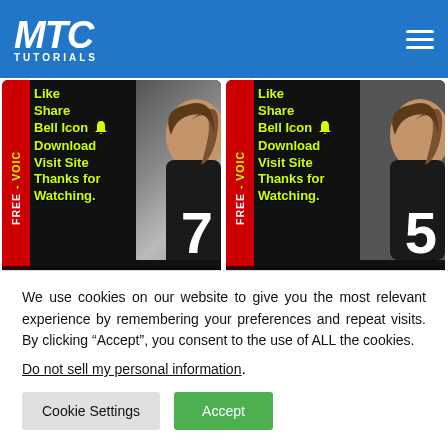MTC TUTORIALS
[Figure (screenshot): Thumbnail for Track 7 Short YouTube video — black background with yellow-green text: Like, Share, Bell Icon, Download, Visit Site, Thanks for Watching. Red vertical FREE·VOIC bar on left. Large white number 7. Track bar at bottom.]
[Figure (screenshot): Thumbnail for Track 5 Short YouTube video — black background with yellow-green text: Like, Share, Bell Icon, Download, Visit Site, Thanks for Watching. Red vertical FREE·VOIC bar on left. Large white number 5. Track bar at bottom.]
Track 7 Short YouTube
Track 5 Short YouTube
We use cookies on our website to give you the most relevant experience by remembering your preferences and repeat visits. By clicking “Accept”, you consent to the use of ALL the cookies.
Do not sell my personal information.